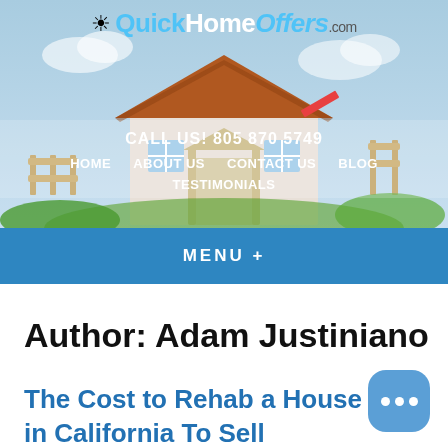[Figure (screenshot): QuickHomeOffers.com website header with logo, house illustration background, navigation links (CALL US! 805 870 5749, HOME, ABOUT US, CONTACT US, BLOG, TESTIMONIALS), and a blue MENU + bar]
Author: Adam Justiniano
The Cost to Rehab a House in California To Sell